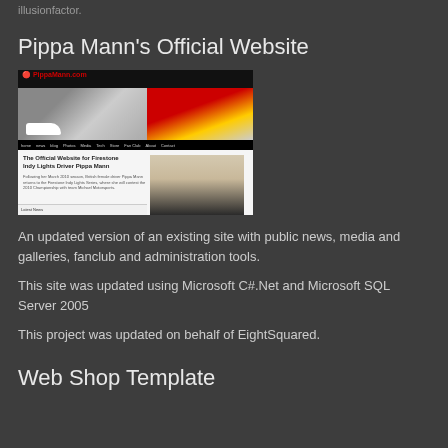illusionfactor.
Pippa Mann's Official Website
[Figure (screenshot): Screenshot of PippaMann.com website showing a racing car banner, red and yellow swoosh graphic, navigation bar, official website text for Firestone Indy Lights Driver Pippa Mann, body text, and a photo of a blonde woman in a floral dress.]
An updated version of an existing site with public news, media and galleries, fanclub and administration tools.
This site was updated using Microsoft C#.Net and Microsoft SQL Server 2005
This project was updated on behalf of EightSquared.
Web Shop Template